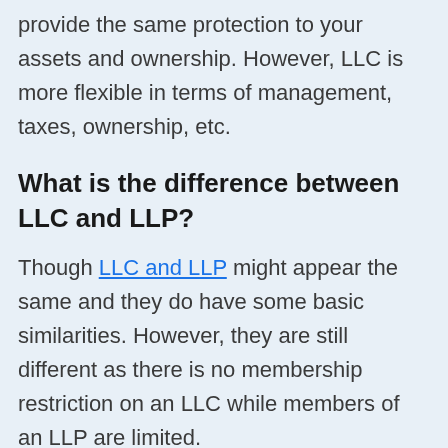provide the same protection to your assets and ownership. However, LLC is more flexible in terms of management, taxes, ownership, etc.
What is the difference between LLC and LLP?
Though LLC and LLP might appear the same and they do have some basic similarities. However, they are still different as there is no membership restriction on an LLC while members of an LLP are limited.